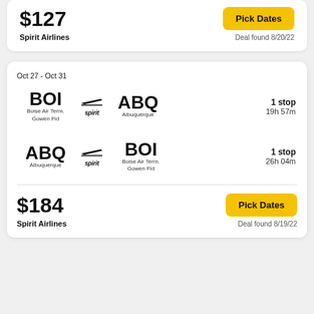$127
Spirit Airlines
Pick Dates
Deal found 8/20/22
Oct 27 - Oct 31
BOI – ABQ, Boise Air Term. Gowen Fld to Albuquerque, 1 stop, 19h 57m, Spirit
ABQ – BOI, Albuquerque to Boise Air Term. Gowen Fld, 1 stop, 26h 04m, Spirit
$184
Spirit Airlines
Pick Dates
Deal found 8/19/22